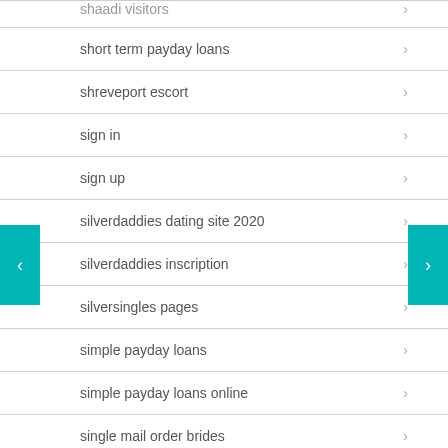shaadi visitors
short term payday loans
shreveport escort
sign in
sign up
silverdaddies dating site 2020
silverdaddies inscription
silversingles pages
simple payday loans
simple payday loans online
single mail order brides